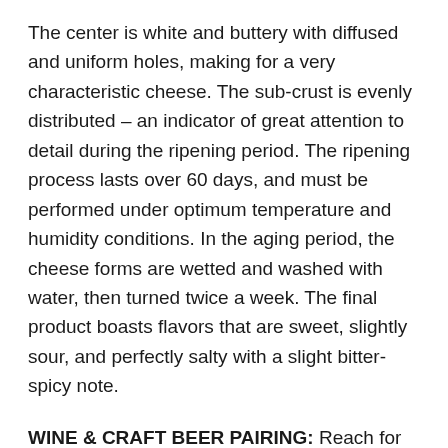The center is white and buttery with diffused and uniform holes, making for a very characteristic cheese. The sub-crust is evenly distributed – an indicator of great attention to detail during the ripening period. The ripening process lasts over 60 days, and must be performed under optimum temperature and humidity conditions. In the aging period, the cheese forms are wetted and washed with water, then turned twice a week. The final product boasts flavors that are sweet, slightly sour, and perfectly salty with a slight bitter-spicy note.
WINE & CRAFT BEER PAIRING: Reach for our November Wine Club wine, Finca Buenaventura Aureo Cabernet Sauvignon, when pairing with this cheese. For beer, grab a Hard Cider or a Porter when pairing with this cheese.